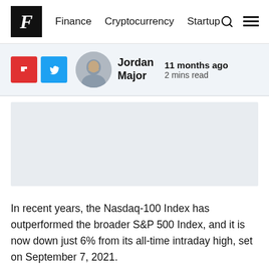F  Finance  Cryptocurrency  Startup
Jordan Major  11 months ago  2 mins read
[Figure (other): Advertisement placeholder banner, light gray background]
In recent years, the Nasdaq-100 Index has outperformed the broader S&P 500 Index, and it is now down just 6% from its all-time intraday high, set on September 7, 2021.
However, more than a quarter of all stocks in the Nasdaq-100 are